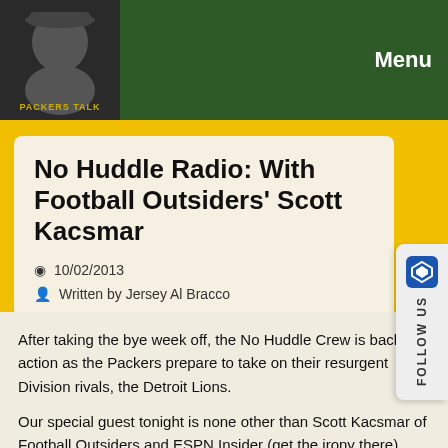PACKERS TALK  Menu
No Huddle Radio: With Football Outsiders' Scott Kacsmar
10/02/2013
Written by Jersey Al Bracco
After taking the bye week off, the No Huddle Crew is back in action as the Packers prepare to take on their resurgent Division rivals, the Detroit Lions.
Our special guest tonight is none other than Scott Kacsmar of Football Outsiders and ESPN Insider (get the irony there), who is one of the most prolific and talented